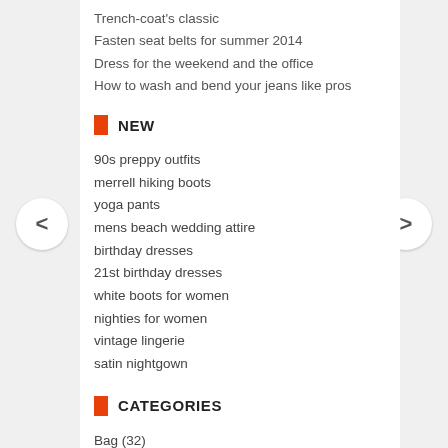Trench-coat's classic
Fasten seat belts for summer 2014
Dress for the weekend and the office
How to wash and bend your jeans like pros
NEW
90s preppy outfits
merrell hiking boots
yoga pants
mens beach wedding attire
birthday dresses
21st birthday dresses
white boots for women
nighties for women
vintage lingerie
satin nightgown
CATEGORIES
Bag (32)
Belt (11)
Blouse (2)
Boots (79)
Bra (7)
Bridesmaid (6)
Business (10)